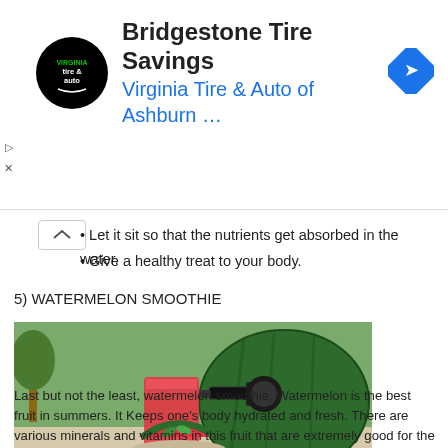[Figure (other): Advertisement banner: Bridgestone Tire Savings - Virginia Tire & Auto of Ashburn ... with circular logo and blue arrow icon]
Let it sit so that the nutrients get absorbed in the water.
Give a healthy treat to your body.
5) WATERMELON SMOOTHIE
[Figure (photo): Photo of a watermelon with a tap/spigot inserted into it, with a glass of red watermelon juice and a slice of watermelon on a plate with mint leaves on a wooden table outdoors.]
Last but not the least, watermelon smoothie. Watermelon is the best fruit in summers. It Keeps one's body hydrated and fresh. There are various minerals and vitamins in this fruit that are extremely good for the heart. Watermelon smoothie can be paired up with any fruit of your choice, no hard and fast rules but, it tastes